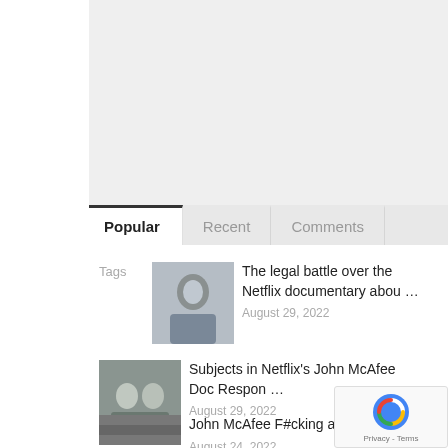[Figure (other): Gray placeholder area at top of page]
Popular	Recent	Comments
Tags
[Figure (photo): Thumbnail of man on phone outdoors]
The legal battle over the Netflix documentary abou …
August 29, 2022
[Figure (photo): Thumbnail of group of people]
Subjects in Netflix's John McAfee Doc Respon …
August 29, 2022
[Figure (photo): Thumbnail of outdoor scene]
John McAfee F#cking a sheep
August 24, 2022